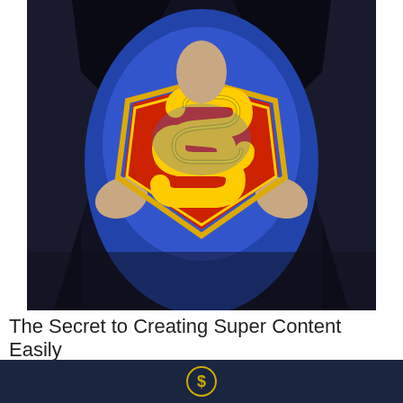[Figure (photo): Person in dark jacket opening shirt to reveal Superman logo (red and orange shield with yellow S) on blue shirt underneath, dramatic superhero pose]
The Secret to Creating Super Content Easily
[Figure (illustration): Dark navy blue banner with a dollar sign inside a circle (gold/yellow outlined circle with dollar symbol)]